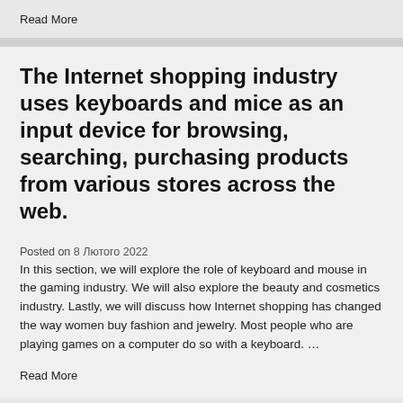Read More
The Internet shopping industry uses keyboards and mice as an input device for browsing, searching, purchasing products from various stores across the web.
Posted on 8 Лютого 2022
In this section, we will explore the role of keyboard and mouse in the gaming industry. We will also explore the beauty and cosmetics industry. Lastly, we will discuss how Internet shopping has changed the way women buy fashion and jewelry. Most people who are playing games on a computer do so with a keyboard. …
Read More